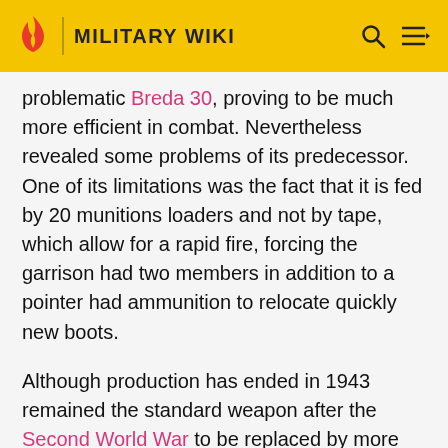MILITARY WIKI
problematic Breda 30, proving to be much more efficient in combat. Nevertheless revealed some problems of its predecessor. One of its limitations was the fact that it is fed by 20 munitions loaders and not by tape, which allow for a rapid fire, forcing the garrison had two members in addition to a pointer had ammunition to relocate quickly new boots.
Although production has ended in 1943 remained the standard weapon after the Second World War to be replaced by more modern guns.
The M37 was adopted as the standard heavy machinegun Portuguese Army in 1938. Here it was officially named Breda machine gun m/938. The weapon was later used